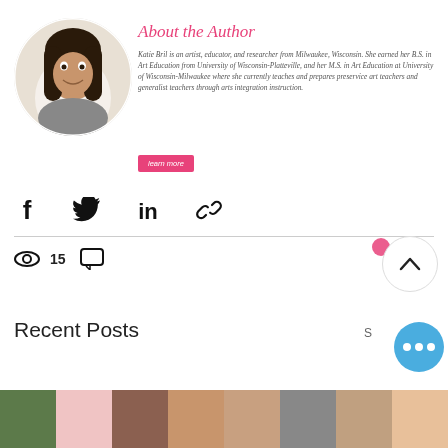[Figure (photo): Circular portrait photo of Katie Bril, a young woman with long dark hair, smiling, against a light background]
About the Author
Katie Bril is an artist, educator, and researcher from Milwaukee, Wisconsin. She earned her B.S. in Art Education from University of Wisconsin-Platteville, and her M.S. in Art Education at University of Wisconsin-Milwaukee where she currently teaches and prepares preservice art teachers and generalist teachers through arts integration instruction.
learn more
[Figure (infographic): Social share icons: Facebook, Twitter, LinkedIn, and link/copy icon]
15
[Figure (infographic): Back to top arrow button (chevron up in circle)]
Recent Posts
[Figure (photo): Row of blog post thumbnail images at the bottom of the page]